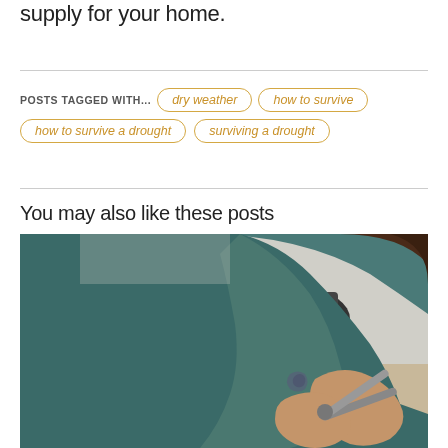supply for your home.
POSTS TAGGED WITH... dry weather  how to survive  how to survive a drought  surviving a drought
You may also like these posts
[Figure (photo): A person with tattooed arms wearing a teal sweater, leaning over a decorated fabric/carpet on a work table, cutting with scissors. Office chairs visible in background.]